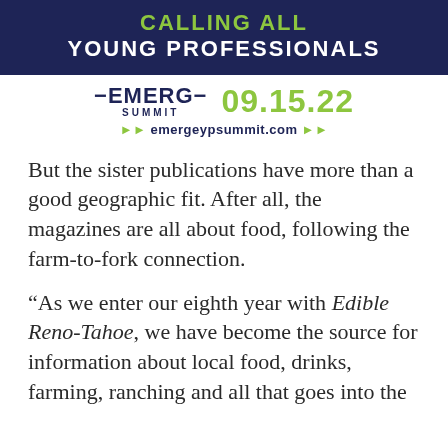[Figure (infographic): Emerge Summit advertisement banner with dark navy background. Text reads CALLING ALL YOUNG PROFESSIONALS. Below is the Emerge Summit logo and date 09.15.22, with URL emergeypsummit.com]
But the sister publications have more than a good geographic fit. After all, the magazines are all about food, following the farm-to-fork connection.
“As we enter our eighth year with Edible Reno-Tahoe, we have become the source for information about local food, drinks, farming, ranching and all that goes into the